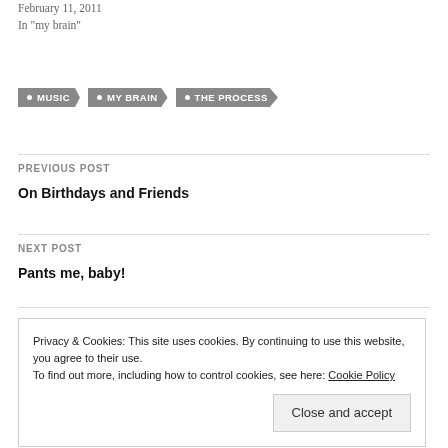February 11, 2011
In "my brain"
• MUSIC
• MY BRAIN
• THE PROCESS
PREVIOUS POST
On Birthdays and Friends
NEXT POST
Pants me, baby!
Privacy & Cookies: This site uses cookies. By continuing to use this website, you agree to their use.
To find out more, including how to control cookies, see here: Cookie Policy
Close and accept